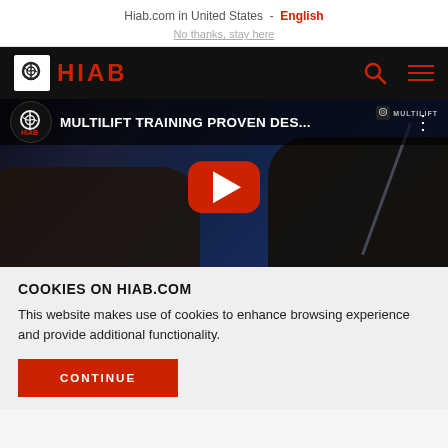Hiab.com in United States - English
No thanks, stay here
[Figure (screenshot): HIAB logo and navigation bar on black background with search and menu icons]
[Figure (screenshot): YouTube video thumbnail showing MULTILIFT TRAINING PROVEN DES... with HIAB logo, play button overlay, and dark industrial background]
COOKIES ON HIAB.COM
This website makes use of cookies to enhance browsing experience and provide additional functionality.
CONTINUE